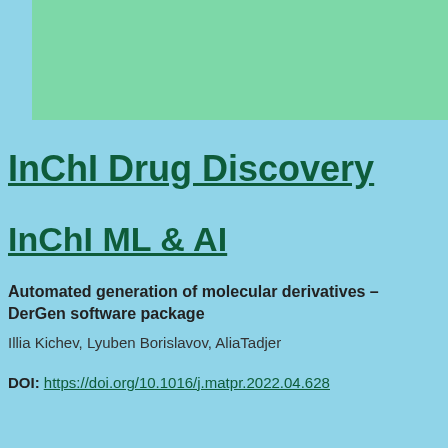[Figure (other): Green banner background at top of page]
InChI Drug Discovery
InChI ML & AI
Automated generation of molecular derivatives – DerGen software package
Illia Kichev, Lyuben Borislavov, AliaTadjer
DOI: https://doi.org/10.1016/j.matpr.2022.04.628